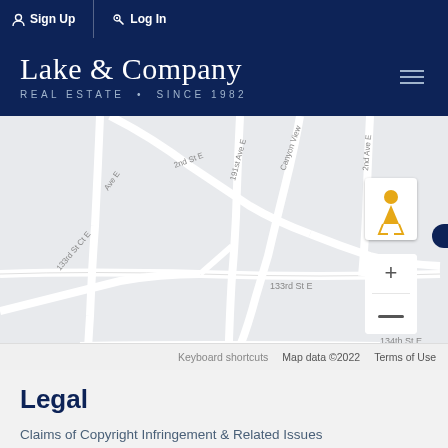Sign Up   Log In
[Figure (logo): Lake & Company Real Estate Since 1982 logo on dark navy background]
[Figure (map): Google Maps screenshot showing street map with 474.5K price marker near 133rd St E and 191st Ave E area, with zoom controls and pegman icon]
Legal
Claims of Copyright Infringement & Related Issues
Disclaimer: The information contained in this listing has